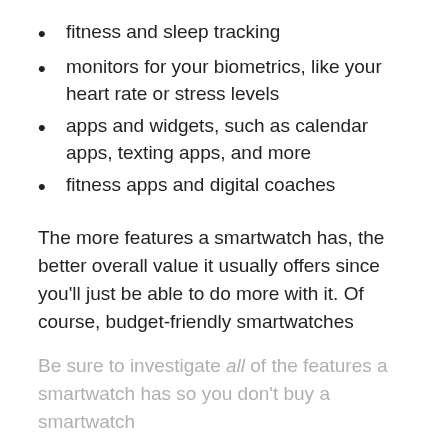fitness and sleep tracking
monitors for your biometrics, like your heart rate or stress levels
apps and widgets, such as calendar apps, texting apps, and more
fitness apps and digital coaches
The more features a smartwatch has, the better overall value it usually offers since you’ll just be able to do more with it. Of course, budget-friendly smartwatches usually have fewer features than their pricier counterparts, though this isn’t always true.
Be sure to investigate all of the features a smartwatch has so you don’t buy a smartwatch